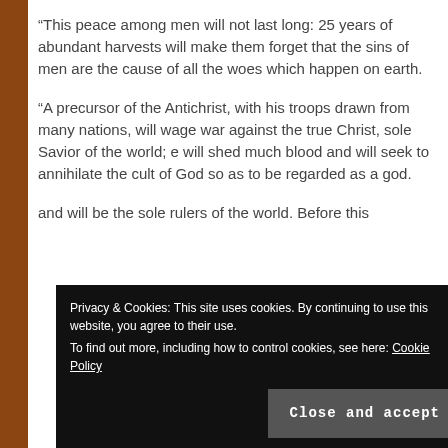“This peace among men will not last long: 25 years of abundant harvests will make them forget that the sins of men are the cause of all the woes which happen on earth.
“A precursor of the Antichrist, with his troops drawn from many nations, will wage war against the true Christ, sole Savior of the world; e will shed much blood and will seek to annihilate the cult of God so as to be regarded as a god.
Privacy & Cookies: This site uses cookies. By continuing to use this website, you agree to their use. To find out more, including how to control cookies, see here: Cookie Policy
Close and accept
and will be the sole rulers of the world. Before this